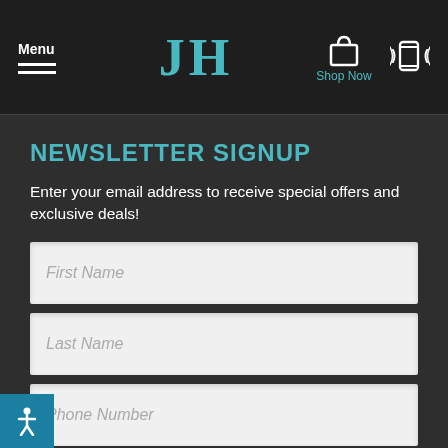Menu | JH | Shop Now
NEWSLETTER SIGNUP
Enter your email address to receive special offers and exclusive deals!
First Name
Last Name
Phone Number
Email Address
By completing this form